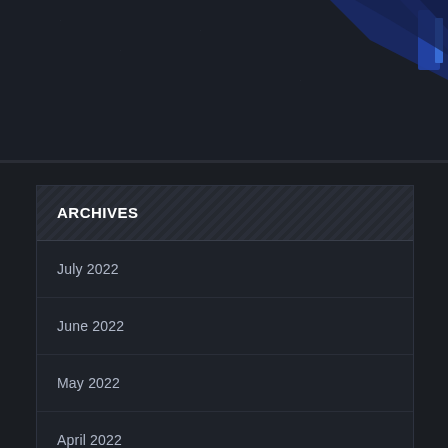[Figure (illustration): Dark themed top banner area with blue geometric/graphic elements visible in upper right corner]
ARCHIVES
July 2022
June 2022
May 2022
April 2022
March 2022
January 2022